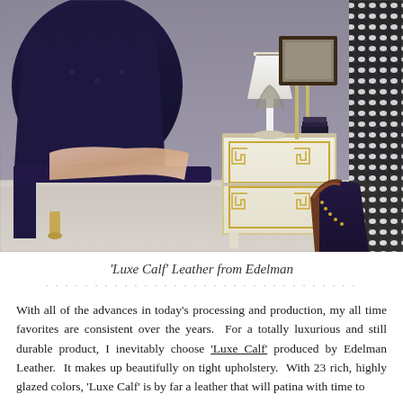[Figure (photo): Interior bedroom scene featuring a navy/dark purple leather upholstered bed with scalloped headboard and gold legs, a white and gold Greek key motif nightstand with lamp, framed art, candles, an animal print curtain on the right, and a partial view of a navy leather wingback chair with nailhead trim in the foreground right.]
'Luxe Calf' Leather from Edelman
With all of the advances in today's processing and production, my all time favorites are consistent over the years.  For a totally luxurious and still durable product, I inevitably choose 'Luxe Calf' produced by Edelman Leather.  It makes up beautifully on tight upholstery.  With 23 rich, highly glazed colors, 'Luxe Calf' is by far a leather that will patina with time to